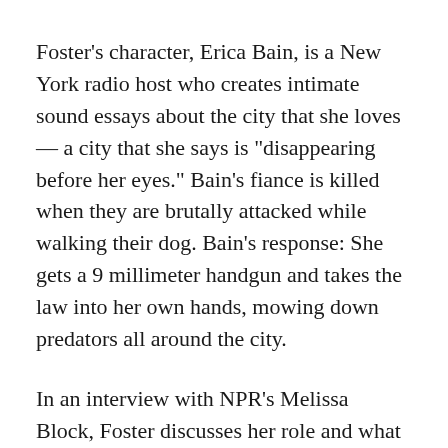Foster's character, Erica Bain, is a New York radio host who creates intimate sound essays about the city that she loves — a city that she says is "disappearing before her eyes." Bain's fiance is killed when they are brutally attacked while walking their dog. Bain's response: She gets a 9 millimeter handgun and takes the law into her own hands, mowing down predators all around the city.
In an interview with NPR's Melissa Block, Foster discusses her role and what it means to play a sympathetic dark character, blurring the ethical lines by meting out her own form of justice.
Foster says that the film genre creates an almost primal experience.